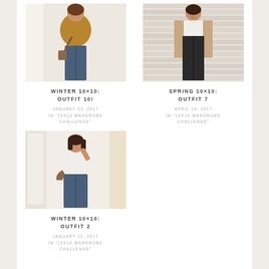[Figure (photo): Woman in mustard sweater and jeans, fashion blog photo]
WINTER 10×10: OUTFIT 10!
JANUARY 23, 2017
IN "10X10 WARDROBE CHALLENGE"
[Figure (photo): Woman in tan cardigan over white top with black pants, against brick wall]
SPRING 10×10: OUTFIT 7
APRIL 18, 2017
IN "10X10 WARDROBE CHALLENGE"
[Figure (photo): Woman in white t-shirt and jeans, fashion blog photo]
WINTER 10×10: OUTFIT 2
JANUARY 11, 2017
IN "10X10 WARDROBE CHALLENGE"